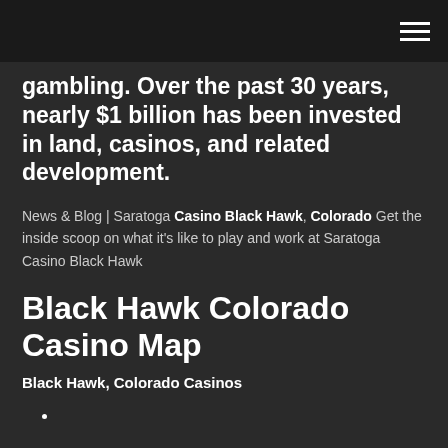gambling. Over the past 30 years, nearly $1 billion has been invested in land, casinos, and related development.
News & Blog | Saratoga Casino Black Hawk, Colorado Get the inside scoop on what it's like to play and work at Saratoga Casino Black Hawk
Black Hawk Colorado Casino Map
Black Hawk, Colorado Casinos